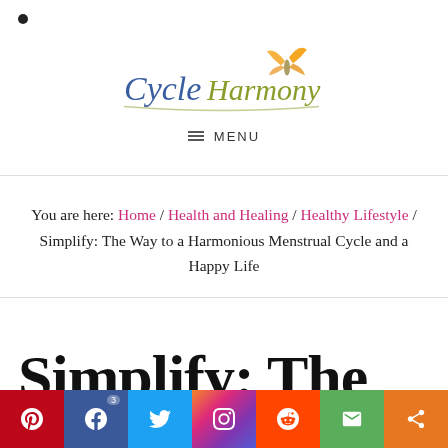Cycle Harmony — MENU
You are here: Home / Health and Healing / Healthy Lifestyle / Simplify: The Way to a Harmonious Menstrual Cycle and a Happy Life
Simplify: The Way to Harmonious
Social share bar: Pinterest, Facebook (3), Twitter, Instagram, Reddit, Email, Share